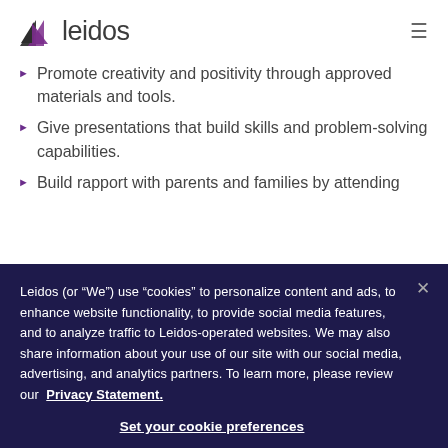leidos
Promote creativity and positivity through approved materials and tools.
Give presentations that build skills and problem-solving capabilities.
Build rapport with parents and families by attending
Leidos (or “We”) use “cookies” to personalize content and ads, to enhance website functionality, to provide social media features, and to analyze traffic to Leidos-operated websites. We may also share information about your use of our site with our social media, advertising, and analytics partners. To learn more, please review our Privacy Statement.
Set your cookie preferences